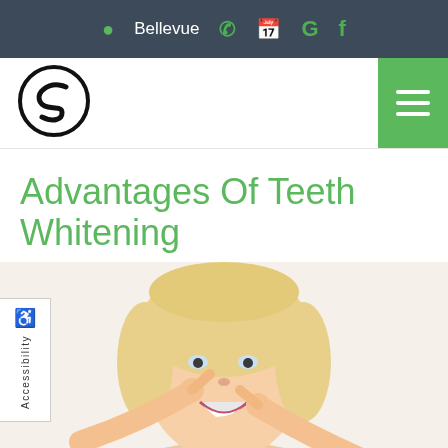Bellevue
[Figure (logo): Circular logo with stylized S letter mark in black]
Advantages Of Teeth Whitening
[Figure (photo): Smiling blonde woman pointing at her teeth with both index fingers, white background]
Accessibility